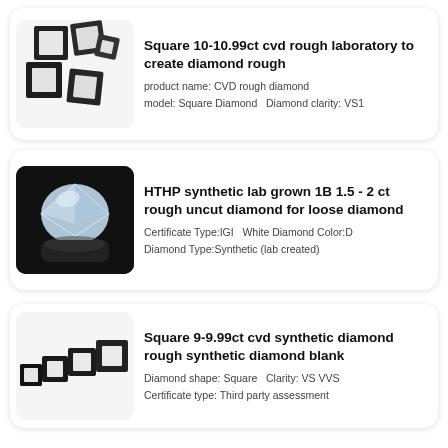[Figure (photo): Five small square CVD rough diamond stones in black holders, arranged in a scattered cluster on a white background.]
Square 10-10.99ct cvd rough laboratory to create diamond rough
product name: CVD rough diamond
model: Square Diamond   Diamond clarity: VS1
[Figure (photo): A large rough uncut lab-grown diamond crystal on a black display stand, with a reflection visible below.]
HTHP synthetic lab grown 1B 1.5 - 2 ct rough uncut diamond for loose diamond
Certificate Type:IGI   White Diamond Color:D
Diamond Type:Synthetic (lab created)
[Figure (photo): Four small square CVD synthetic diamond rough blanks arranged in a diagonal row on a white background.]
Square 9-9.99ct cvd synthetic diamond rough synthetic diamond blank
Diamond shape: Square   Clarity: VS VVS
Certificate type: Third party assessment